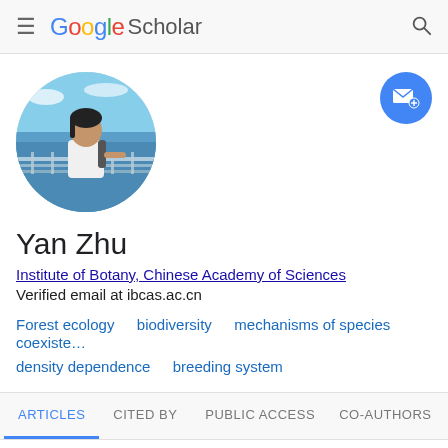Google Scholar
[Figure (photo): Circular profile photo of Yan Zhu, a woman standing outdoors near water with a railing/fence, wearing a white shirt with a backpack, blue sky and water visible in background]
Yan Zhu
Institute of Botany, Chinese Academy of Sciences
Verified email at ibcas.ac.cn
Forest ecology
biodiversity
mechanisms of species coexiste…
density dependence
breeding system
ARTICLES   CITED BY   PUBLIC ACCESS   CO-AUTHORS
SORT ▼    CITED BY